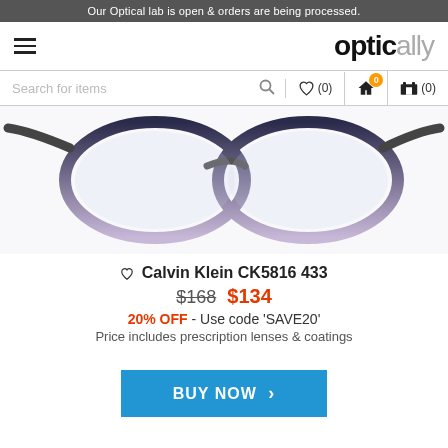Our Optical lab is open & orders are being processed.
[Figure (logo): Hamburger menu icon and optically logo]
[Figure (screenshot): Search bar with heart icon (0), home icon with badge (0), and cart icon (0)]
[Figure (photo): Calvin Klein CK5816 433 eyeglasses - dark blue to clear gradient cat-eye frames photographed from front]
♡ Calvin Klein CK5816 433
$168  $134
20% OFF - Use code 'SAVE20'
Price includes prescription lenses & coatings
BUY NOW >